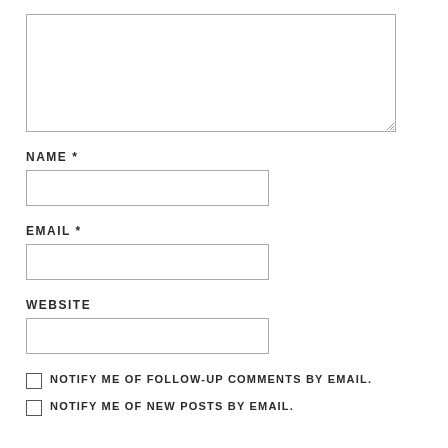[Figure (screenshot): Empty textarea input box with resize handle in bottom-right corner]
NAME *
[Figure (screenshot): Empty single-line text input box for Name field]
EMAIL *
[Figure (screenshot): Empty single-line text input box for Email field]
WEBSITE
[Figure (screenshot): Empty single-line text input box for Website field]
NOTIFY ME OF FOLLOW-UP COMMENTS BY EMAIL.
NOTIFY ME OF NEW POSTS BY EMAIL.